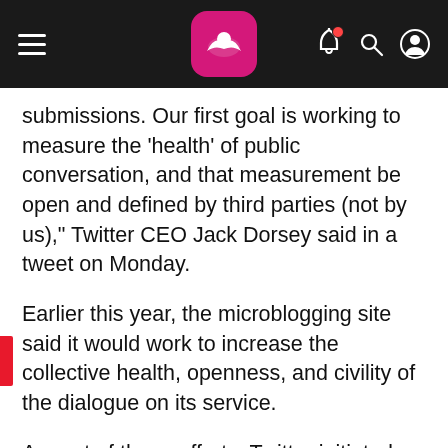Navigation header with hamburger menu, logo (kangaroo icon), bell notification, search, and user icons
submissions. Our first goal is working to measure the 'health' of public conversation, and that measurement be open and defined by third parties (not by us)," Twitter CEO Jack Dorsey said in a tweet on Monday.
Earlier this year, the microblogging site said it would work to increase the collective health, openness, and civility of the dialogue on its service.
As part of these efforts, Twitter initiated a programme to suspend millions of fake accounts and in June announced the acquisition of Smyte, a San Francisco-based technology company that specialises in safety, spam, and security issues.